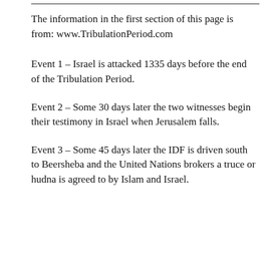The information in the first section of this page is from: www.TribulationPeriod.com
Event 1 – Israel is attacked 1335 days before the end of the Tribulation Period.
Event 2 – Some 30 days later the two witnesses begin their testimony in Israel when Jerusalem falls.
Event 3 – Some 45 days later the IDF is driven south to Beersheba and the United Nations brokers a truce or hudna is agreed to by Islam and Israel.